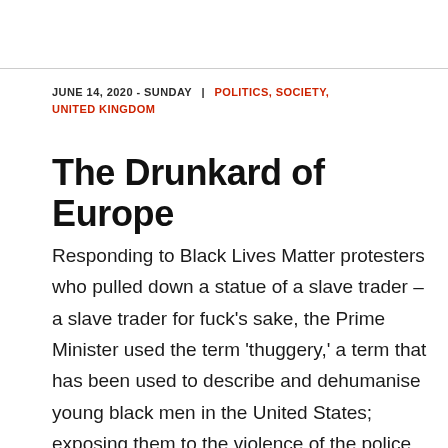JUNE 14, 2020 - SUNDAY | POLITICS, SOCIETY, UNITED KINGDOM
The Drunkard of Europe
Responding to Black Lives Matter protesters who pulled down a statue of a slave trader – a slave trader for fuck's sake, the Prime Minister used the term 'thuggery,' a term that has been used to describe and dehumanise young black men in the United States; exposing them to the violence of the police officers of a racist state and the reason the protesters took him down in the first place